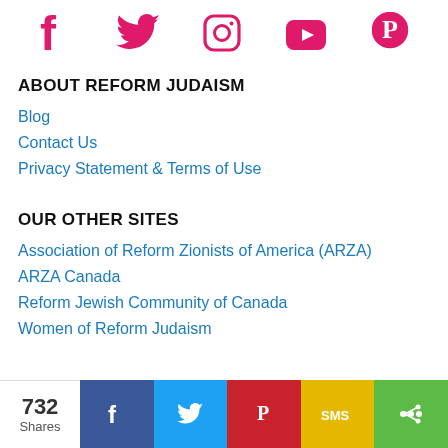[Figure (infographic): Social media icons row: Facebook, Twitter, Instagram, YouTube, Pinterest in pink/red color]
ABOUT REFORM JUDAISM
Blog
Contact Us
Privacy Statement & Terms of Use
OUR OTHER SITES
Association of Reform Zionists of America (ARZA)
ARZA Canada
Reform Jewish Community of Canada
Women of Reform Judaism
[Figure (infographic): Share bar showing 732 Shares, with Facebook, Twitter, Pinterest, SMS, and more share buttons in blue, light blue, red, yellow, green]